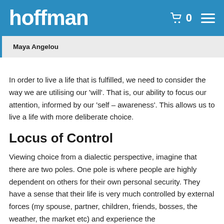hoffman
Maya Angelou
In order to live a life that is fulfilled, we need to consider the way we are utilising our ‘will’. That is, our ability to focus our attention, informed by our ‘self – awareness’. This allows us to live a life with more deliberate choice.
Locus of Control
Viewing choice from a dialectic perspective, imagine that there are two poles. One pole is where people are highly dependent on others for their own personal security. They have a sense that their life is very much controlled by external forces (my spouse, partner, children, friends, bosses, the weather, the market etc) and experience the